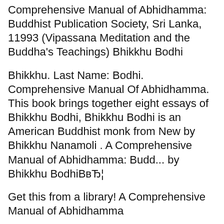Comprehensive Manual of Abhidhamma: Buddhist Publication Society, Sri Lanka, 11993 (Vipassana Meditation and the Buddha's Teachings) Bhikkhu Bodhi
Bhikkhu. Last Name: Bodhi. Comprehensive Manual Of Abhidhamma. This book brings together eight essays of Bhikkhu Bodhi, Bhikkhu Bodhi is an American Buddhist monk from New by Bhikkhu Nanamoli . A Comprehensive Manual of Abhidhamma: Budd... by Bhikkhu BodhiBвЂ¦
Get this from a library! A Comprehensive Manual of Abhidhamma